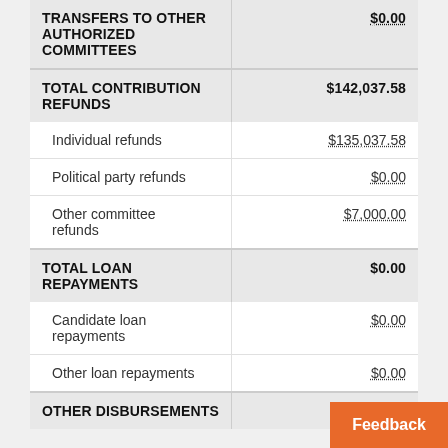| Category | Amount |
| --- | --- |
| TRANSFERS TO OTHER AUTHORIZED COMMITTEES | $0.00 |
| TOTAL CONTRIBUTION REFUNDS | $142,037.58 |
| Individual refunds | $135,037.58 |
| Political party refunds | $0.00 |
| Other committee refunds | $7,000.00 |
| TOTAL LOAN REPAYMENTS | $0.00 |
| Candidate loan repayments | $0.00 |
| Other loan repayments | $0.00 |
| OTHER DISBURSEMENTS |  |